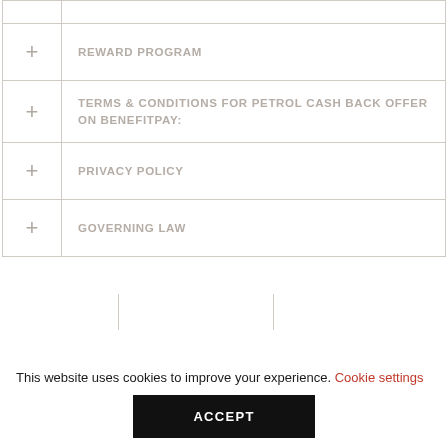+ REWARD PROGRAM
+ TERMS & CONDITIONS FOR PETROL CASH BACK OFFER ON BENEFITPAY:
+ PRIVACY POLICY
+ GOVERNING LAW
This website uses cookies to improve your experience. Cookie settings
ACCEPT